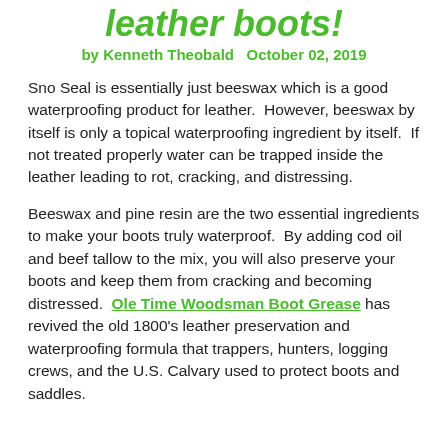leather boots!
by Kenneth Theobald   October 02, 2019
Sno Seal is essentially just beeswax which is a good waterproofing product for leather.  However, beeswax by itself is only a topical waterproofing ingredient by itself.  If not treated properly water can be trapped inside the leather leading to rot, cracking, and distressing.
Beeswax and pine resin are the two essential ingredients to make your boots truly waterproof.  By adding cod oil and beef tallow to the mix, you will also preserve your boots and keep them from cracking and becoming distressed.  Ole Time Woodsman Boot Grease has revived the old 1800's leather preservation and waterproofing formula that trappers, hunters, logging crews, and the U.S. Calvary used to protect boots and saddles.